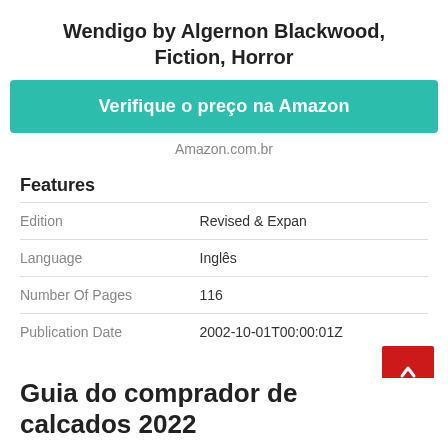Wendigo by Algernon Blackwood, Fiction, Horror
[Figure (other): Teal button with text 'Verifique o preço na Amazon']
Amazon.com.br
Features
| Edition | Revised & Expan |
| Language | Inglês |
| Number Of Pages | 116 |
| Publication Date | 2002-10-01T00:00:01Z |
Guia do comprador de calcados 2022